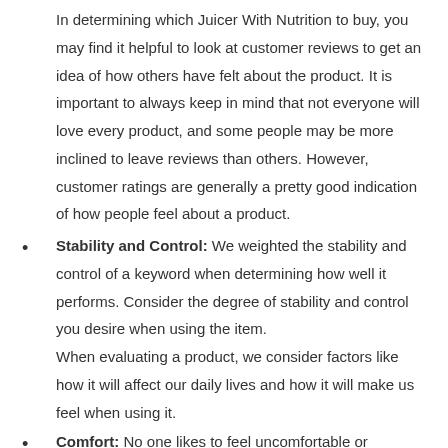In determining which Juicer With Nutrition to buy, you may find it helpful to look at customer reviews to get an idea of how others have felt about the product. It is important to always keep in mind that not everyone will love every product, and some people may be more inclined to leave reviews than others. However, customer ratings are generally a pretty good indication of how people feel about a product.
Stability and Control: We weighted the stability and control of a keyword when determining how well it performs. Consider the degree of stability and control you desire when using the item.
When evaluating a product, we consider factors like how it will affect our daily lives and how it will make us feel when using it.
Comfort: No one likes to feel uncomfortable or constrained when enjoying his or her favorite activities. Considering how you will feel about using Juicer With Nutrition is an important